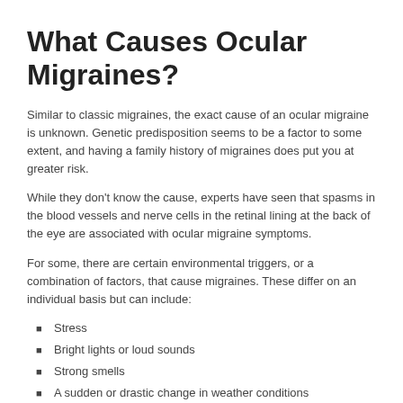What Causes Ocular Migraines?
Similar to classic migraines, the exact cause of an ocular migraine is unknown. Genetic predisposition seems to be a factor to some extent, and having a family history of migraines does put you at greater risk.
While they don't know the cause, experts have seen that spasms in the blood vessels and nerve cells in the retinal lining at the back of the eye are associated with ocular migraine symptoms.
For some, there are certain environmental triggers, or a combination of factors, that cause migraines. These differ on an individual basis but can include:
Stress
Bright lights or loud sounds
Strong smells
A sudden or drastic change in weather conditions